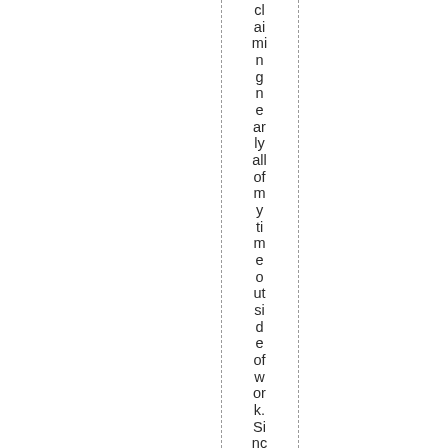claiming nearly all of my time outside of work. Since I liv